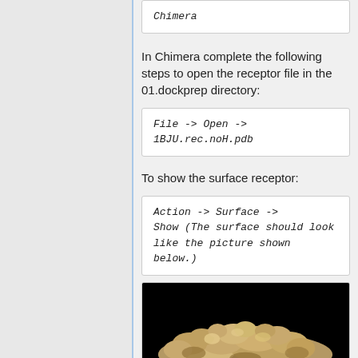Chimera
In Chimera complete the following steps to open the receptor file in the 01.dockprep directory:
File -> Open -> 1BJU.rec.noH.pdb
To show the surface receptor:
Action -> Surface -> Show (The surface should look like the picture shown below.)
[Figure (photo): Molecular surface rendering of a receptor shown in gold/tan color against a black background, viewed from above showing a bumpy globular surface structure.]